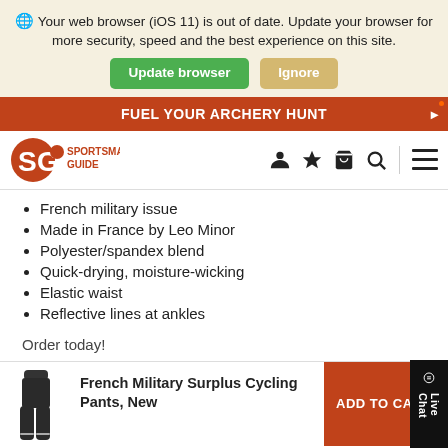🌐 Your web browser (iOS 11) is out of date. Update your browser for more security, speed and the best experience on this site.
Update browser | Ignore
FUEL YOUR ARCHERY HUNT
[Figure (logo): Sportsman's Guide logo with SG icon and orange deer head]
French military issue
Made in France by Leo Minor
Polyester/spandex blend
Quick-drying, moisture-wicking
Elastic waist
Reflective lines at ankles
Order today!
[Figure (photo): Product image of black cycling pants]
French Military Surplus Cycling Pants, New
ADD TO CAR